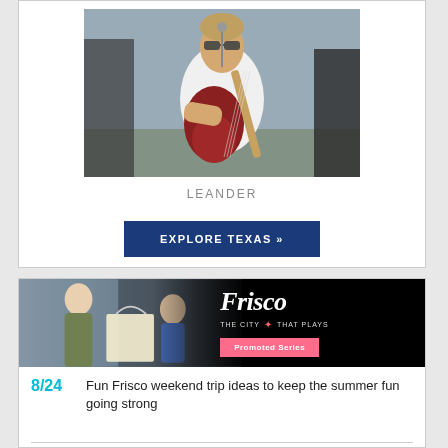[Figure (photo): Man with sunglasses playing a red electric guitar on stage in a white shirt, with a microphone stand in front of him]
LEANDER
EXPLORE TEXAS »
[Figure (photo): Frisco promotional banner: two women at a craft/art store counter with a tote bag, dark background on right side with Frisco The City That Plays logo and Promoted Series button]
8/24   Fun Frisco weekend trip ideas to keep the summer fun going strong